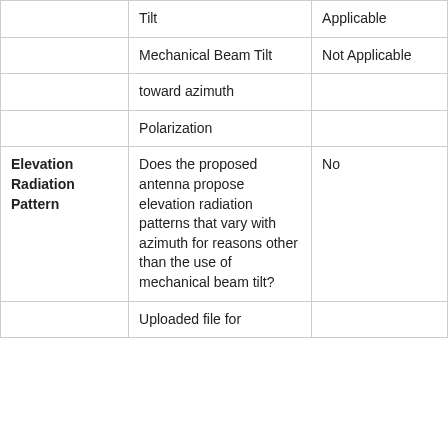|  | Tilt | Applicable |
|  | Mechanical Beam Tilt | Not Applicable |
|  | toward azimuth |  |
|  | Polarization |  |
| Elevation Radiation Pattern | Does the proposed antenna propose elevation radiation patterns that vary with azimuth for reasons other than the use of mechanical beam tilt? | No |
|  | Uploaded file for |  |